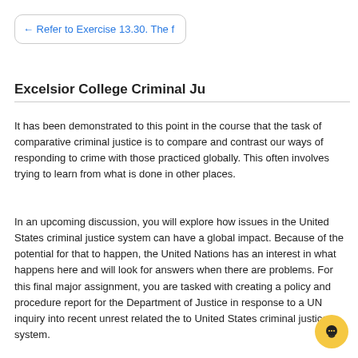← Refer to Exercise 13.30. The f
Excelsior College Criminal Ju
It has been demonstrated to this point in the course that the task of comparative criminal justice is to compare and contrast our ways of responding to crime with those practiced globally. This often involves trying to learn from what is done in other places.
In an upcoming discussion, you will explore how issues in the United States criminal justice system can have a global impact. Because of the potential for that to happen, the United Nations has an interest in what happens here and will look for answers when there are problems. For this final major assignment, you are tasked with creating a policy and procedure report for the Department of Justice in response to a UN inquiry into recent unrest related the to United States criminal justice system.